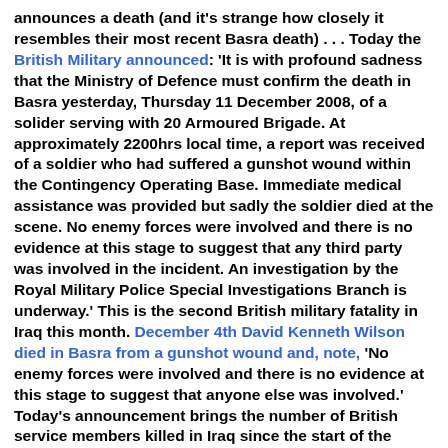announces a death (and it's strange how closely it resembles their most recent Basra death) . . . Today the British Military announced: 'It is with profound sadness that the Ministry of Defence must confirm the death in Basra yesterday, Thursday 11 December 2008, of a solider serving with 20 Armoured Brigade. At approximately 2200hrs local time, a report was received of a soldier who had suffered a gunshot wound within the Contingency Operating Base. Immediate medical assistance was provided but sadly the soldier died at the scene. No enemy forces were involved and there is no evidence at this stage to suggest that any third party was involved in the incident. An investigation by the Royal Military Police Special Investigations Branch is underway.' This is the second British military fatality in Iraq this month. December 4th David Kenneth Wilson died in Basra from a gunshot wound and, note, 'No enemy forces were involved and there is no evidence at this stage to suggest that anyone else was involved.' Today's announcement brings the number of British service members killed in Iraq since the start of the illegal war to 178".